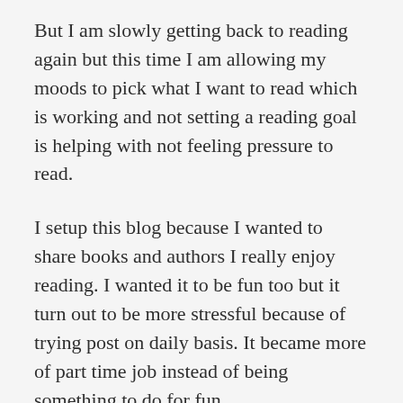But I am slowly getting back to reading again but this time I am allowing my moods to pick what I want to read which is working and not setting a reading goal is helping with not feeling pressure to read.
I setup this blog because I wanted to share books and authors I really enjoy reading. I wanted it to be fun too but it turn out to be more stressful because of trying post on daily basis. It became more of part time job instead of being something to do for fun.
I am changing my blog to not just be about books, authors I love but going to try to include the things that help me get thru these past two years that gave me happiness and help me. I can't promise to post on daily or weekly basis but I will